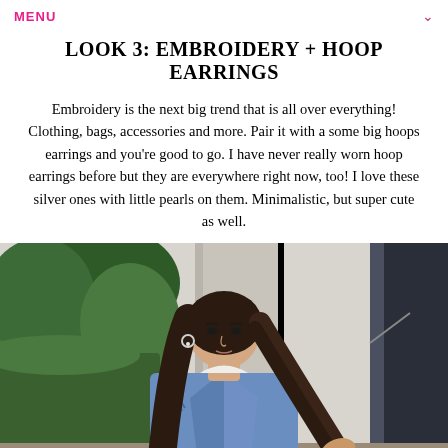MENU
LOOK 3: EMBROIDERY + HOOP EARRINGS
Embroidery is the next big trend that is all over everything! Clothing, bags, accessories and more. Pair it with a some big hoops earrings and you're good to go. I have never really worn hoop earrings before but they are everywhere right now, too! I love these silver ones with little pearls on them. Minimalistic, but super cute as well.
[Figure (photo): A young woman with long dark brown hair wearing a distressed denim jacket, standing outdoors in front of green hedges and a stone/concrete architectural backdrop.]